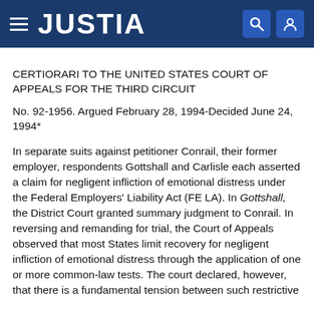JUSTIA
CERTIORARI TO THE UNITED STATES COURT OF APPEALS FOR THE THIRD CIRCUIT
No. 92-1956. Argued February 28, 1994-Decided June 24, 1994*
In separate suits against petitioner Conrail, their former employer, respondents Gottshall and Carlisle each asserted a claim for negligent infliction of emotional distress under the Federal Employers' Liability Act (FELA). In Gottshall, the District Court granted summary judgment to Conrail. In reversing and remanding for trial, the Court of Appeals observed that most States limit recovery for negligent infliction of emotional distress through the application of one or more common-law tests. The court declared, however, that there is a fundamental tension between such restrictive